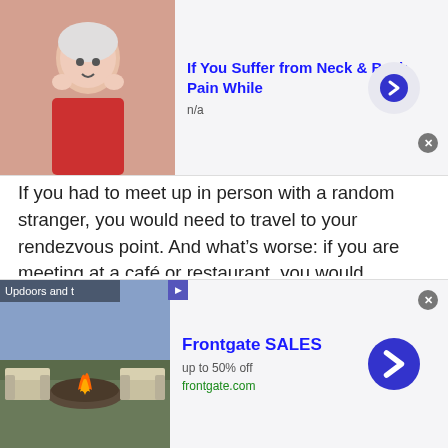[Figure (advertisement): Top advertisement banner with an elderly woman holding her neck/head, headline 'If You Suffer from Neck & Back Pain While', subtext 'n/a', blue arrow button on right, close X button]
If you had to meet up in person with a random stranger, you would need to travel to your rendezvous point. And what's worse: if you are meeting at a café or restaurant, you would probably need to pay an extra amount for the meal that you consume. The travel cost, plus these additional costs make meeting in person a less convenient option when compared to online chatting platforms.
With our site, you do not need to pay for any travel costs. All you need is a stable Wi-Fi connection and a working
[Figure (advertisement): Bottom advertisement banner with outdoor furniture/fire pit image, headline 'Frontgate SALES', subtext 'up to 50% off', URL 'frontgate.com', blue arrow button on right, close X button, external ad icon]